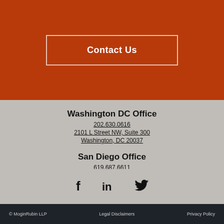Contact Us
Washington DC Office
202.630.0616
2101 L Street NW, Suite 300
Washington, DC 20037
San Diego Office
619.687.6611
600 West Broadway, Suite 3300
San Diego, CA 92101
[Figure (other): Social media icons: Facebook, LinkedIn, Twitter]
© MoginRubin LLP   Legal Disclaimers   Privacy Policy